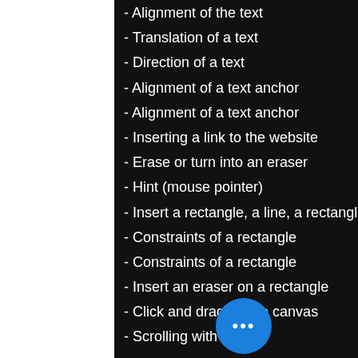- Alignment of the text
- Translation of a text
- Direction of a text
- Alignment of a text anchor
- Alignment of a text anchor
- Inserting a link to the website
- Erase or turn into an eraser
- Hint (mouse pointer)
- Insert a rectangle, a line, a rectangle, a circle, a triangle, or a line
- Constraints of a rectangle
- Constraints of a rectangle
- Insert an eraser on a rectangle
- Click and drag on the canvas
- Scrolling with the
TimingDraw  PC/Windows [Latest-2022] Key-Macro is an app to work with Arduino code generated by the Arduino IDE.  You can set the editor's focus on macro blocks instead of the editor's contents. Using